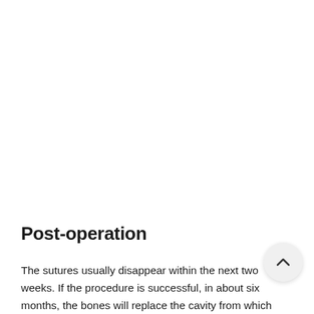Post-operation
The sutures usually disappear within the next two weeks. If the procedure is successful, in about six months, the bones will replace the cavity from which the apex of the